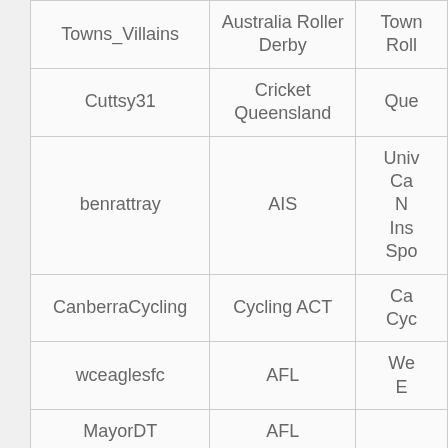| Username | Organisation | Organisation (truncated) |
| --- | --- | --- |
| Towns_Villains | Australia Roller Derby | Town Roller (truncated) |
| Cuttsy31 | Cricket Queensland | Que (truncated) |
| benrattray | AIS | Univ Ca N Ins Spo (truncated) |
| CanberraCycling | Cycling ACT | Ca Cyc (truncated) |
| wceaglesfc | AFL | We E (truncated) |
| MayorDT | AFL |  |
| shaunanderson22 | Hockey Australia | Hoc (truncated) |
| Nrimmington | Cricket Queensland | Que (truncated) |